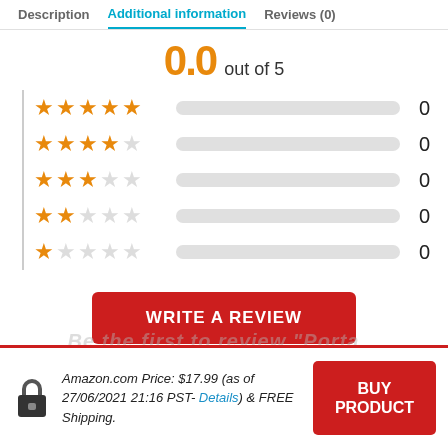Description | Additional information | Reviews (0)
0.0 out of 5
[Figure (infographic): Star rating breakdown: 5-star to 1-star rows, each with an orange star display, a grey progress bar at 0%, and count of 0]
WRITE A REVIEW
Amazon.com Price: $17.99 (as of 27/06/2021 21:16 PST- Details) & FREE Shipping.
BUY PRODUCT